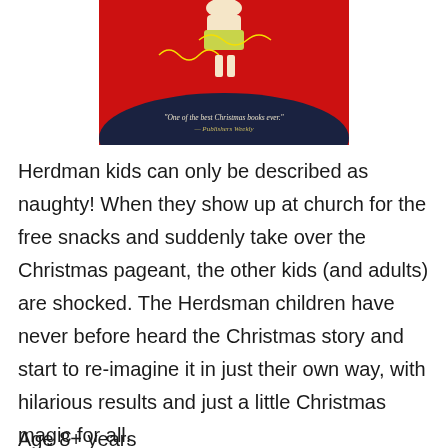[Figure (illustration): Book cover showing a figure on a red background with a dark hill/mound at the bottom containing a quote: 'One of the best Christmas books ever.' — Publishers Weekly]
Herdman kids can only be described as naughty! When they show up at church for the free snacks and suddenly take over the Christmas pageant, the other kids (and adults) are shocked. The Herdsman children have never before heard the Christmas story and start to re-imagine it in just their own way, with hilarious results and just a little Christmas magic for all.
Age 8+ years